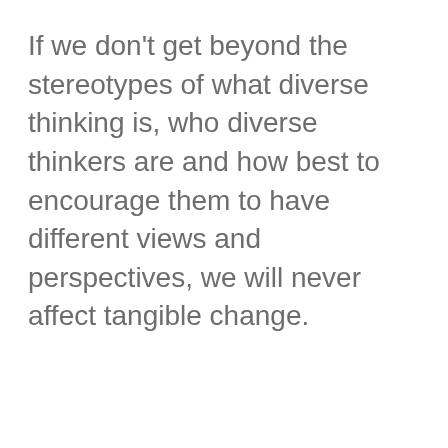If we don't get beyond the stereotypes of what diverse thinking is, who diverse thinkers are and how best to encourage them to have different views and perspectives, we will never affect tangible change.